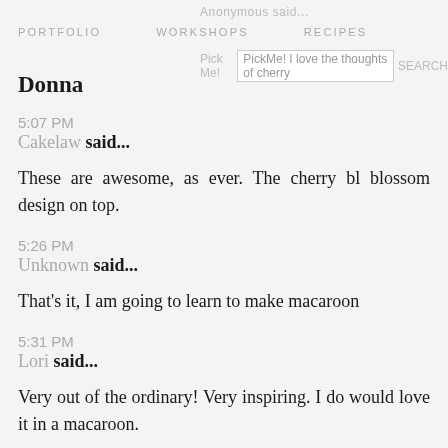Anonymous said... PORTFOLIO WORKSHOPS RECIPES Pick Me! PickMe! I love the thoughts of cherry SEARCH
Donna
5:07 PM
Cakelaw said...
These are awesome, as ever. The cherry bl blossom design on top.
5:26 PM
Unknown said...
That's it, I am going to learn to make macaroon
5:31 PM
Lori said...
Very out of the ordinary! Very inspiring. I do would love it in a macaroon.
As for the cherry blossom extract, ooh ooh pic
5:42 PM